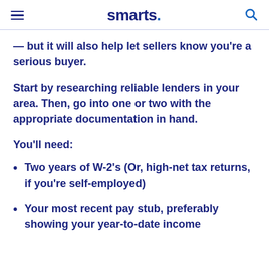smarts.
— but it will also help let sellers know you're a serious buyer.
Start by researching reliable lenders in your area. Then, go into one or two with the appropriate documentation in hand.
You'll need:
Two years of W-2's (Or, high-net tax returns, if you're self-employed)
Your most recent pay stub, preferably showing your year-to-date income